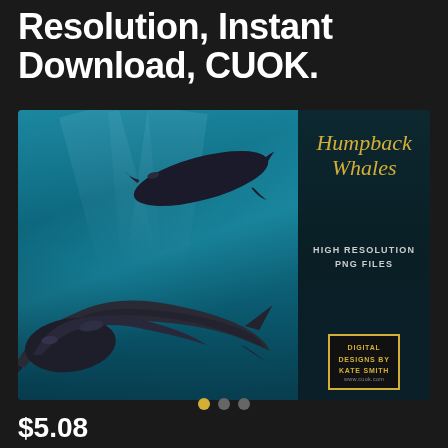Resolution, Instant Download, CUOK.
[Figure (illustration): Product listing image for Humpback Whales digital PNG files. Left portion shows two humpback whales underwater in teal-blue water. Right dark panel shows 'Humpback Whales' in gold italic text, 'HIGH RESOLUTION PNG FILES' in gray, and a gold-bordered box reading 'DIGITAL DESIGNS BY KATE SMITH www.cuok.com'.]
$5.08